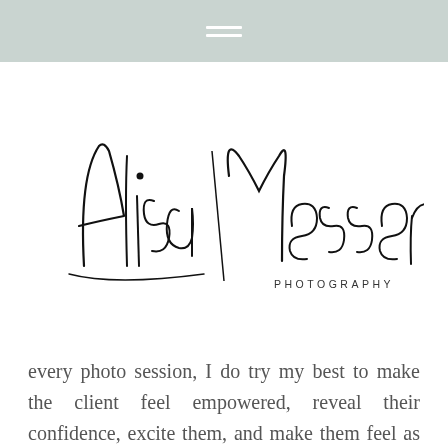navigation menu icon
[Figure (logo): Alisa Messeroff Photography logo in cursive/script handwriting style with 'PHOTOGRAPHY' in small spaced caps beneath]
every photo session, I do try my best to make the client feel empowered, reveal their confidence, excite them, and make them feel as comfortable as possible. Please look at my senior work here!